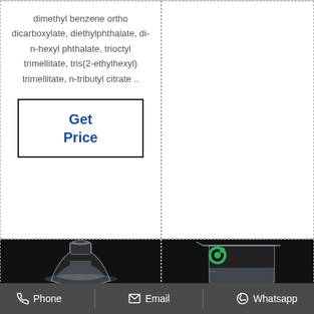dimethyl benzene ortho dicarboxylate, diethylphthalate, di-n-hexyl phthalate, trioctyl trimellitate, tris(2-ethylhexyl) trimellitate, n-tributyl citrate ..
Get Price
[Figure (photo): Photo of a glass Erlenmeyer flask containing a clear liquid, on a dark background]
[Figure (photo): Photo of a glass beaker containing a clear liquid with a green circular logo/watermark, on a dark background]
Phone   Email   Whatsapp